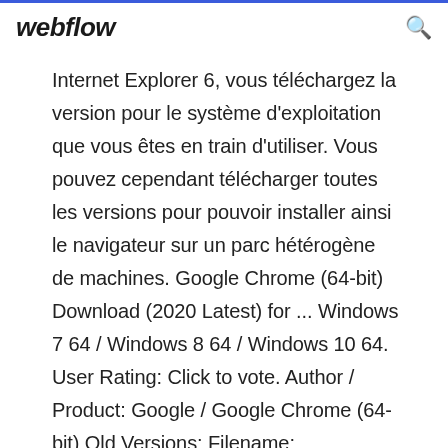webflow
Internet Explorer 6, vous téléchargez la version pour le système d'exploitation que vous êtes en train d'utiliser. Vous pouvez cependant télécharger toutes les versions pour pouvoir installer ainsi le navigateur sur un parc hétérogène de machines. Google Chrome (64-bit) Download (2020 Latest) for ... Windows 7 64 / Windows 8 64 / Windows 10 64. User Rating: Click to vote. Author / Product: Google / Google Chrome (64-bit) Old Versions: Filename: ChromeStandalone.exe. Details: Google Chrome (64-bit) 2020 full offline installer setup for PC. Google Chrome 64-bit is a web browser that combines a minimal design with sophisticated technology to make the